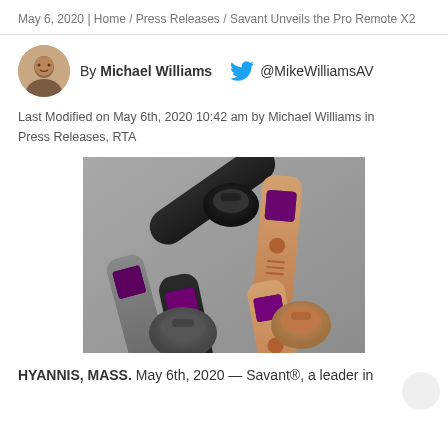May 6, 2020 | Home / Press Releases / Savant Unveils the Pro Remote X2
By Michael Williams   @MikeWilliamsAV
Last Modified on May 6th, 2020 10:42 am by Michael Williams in Press Releases, RTA
[Figure (photo): Product photo showing Savant Pro Remote X2 devices in black, gray/silver, and rose gold colors with circular charging docks on a gray background]
HYANNIS, MASS. May 6th, 2020 — Savant®, a leader in